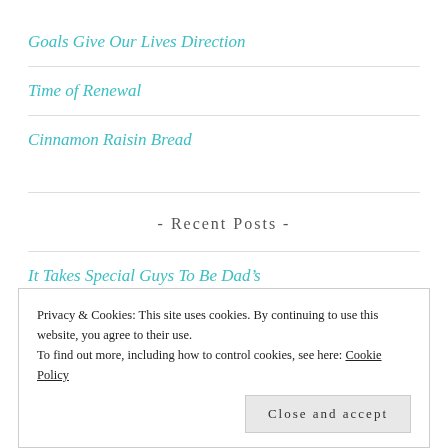Goals Give Our Lives Direction
Time of Renewal
Cinnamon Raisin Bread
- Recent Posts -
It Takes Special Guys To Be Dad’s
Difficult Weeks Mean Extra Special Encouragement
Privacy & Cookies: This site uses cookies. By continuing to use this website, you agree to their use.
To find out more, including how to control cookies, see here: Cookie Policy
Close and accept